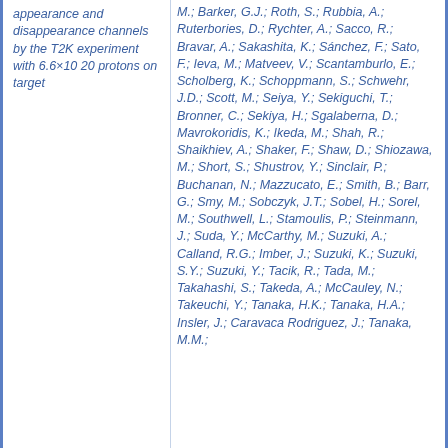appearance and disappearance channels by the T2K experiment with 6.6×10 20 protons on target
M.; Barker, G.J.; Roth, S.; Rubbia, A.; Ruterbories, D.; Rychter, A.; Sacco, R.; Bravar, A.; Sakashita, K.; Sánchez, F.; Sato, F.; Ieva, M.; Matveev, V.; Scantamburlo, E.; Scholberg, K.; Schoppmann, S.; Schwehr, J.D.; Scott, M.; Seiya, Y.; Sekiguchi, T.; Bronner, C.; Sekiya, H.; Sgalaberna, D.; Mavrokoridis, K.; Ikeda, M.; Shah, R.; Shaikhiev, A.; Shaker, F.; Shaw, D.; Shiozawa, M.; Short, S.; Shustrov, Y.; Sinclair, P.; Buchanan, N.; Mazzucato, E.; Smith, B.; Barr, G.; Smy, M.; Sobczyk, J.T.; Sobel, H.; Sorel, M.; Southwell, L.; Stamoulis, P.; Steinmann, J.; Suda, Y.; McCarthy, M.; Suzuki, A.; Calland, R.G.; Imber, J.; Suzuki, K.; Suzuki, S.Y.; Suzuki, Y.; Tacik, R.; Tada, M.; Takahashi, S.; Takeda, A.; McCauley, N.; Takeuchi, Y.; Tanaka, H.K.; Tanaka, H.A.; Insler, J.; Caravaca Rodriguez, J.; Tanaka, M.M.;